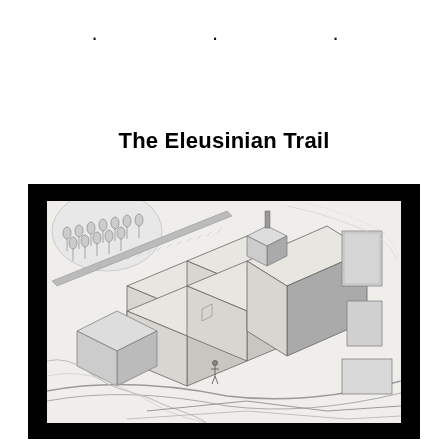. . .
The Eleusinian Trail
[Figure (illustration): An axonometric architectural drawing of the Eleusinian sanctuary complex, showing ancient Greek buildings and structures including large rectangular temple buildings, smaller structures, surrounding landscape with trees on a hillside, and adjacent urban/road context. The drawing is a detailed pencil/ink line illustration presented within a black-bordered frame.]